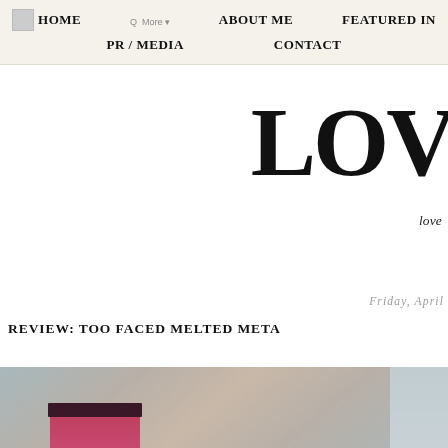HOME | ABOUT ME | FEATURED IN | PR / MEDIA | CONTACT
LOV
love
Friday, April
REVIEW: TOO FACED MELTED META
[Figure (photo): Product photo showing Too Faced Melted Meta makeup product in pink packaging on a neutral background]